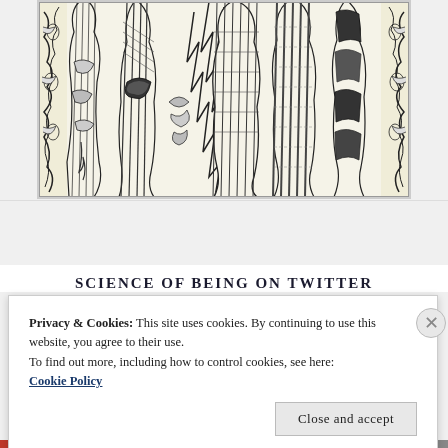[Figure (illustration): Black and white woodcut-style illustration showing ornately robed medieval or fantasy figures with detailed decorative patterns, scrollwork borders on sides, and intricate linework throughout. The image is cropped showing the lower portion of the figures.]
SCIENCE OF BEING ON TWITTER
Privacy & Cookies: This site uses cookies. By continuing to use this website, you agree to their use.
To find out more, including how to control cookies, see here:
Cookie Policy
Close and accept